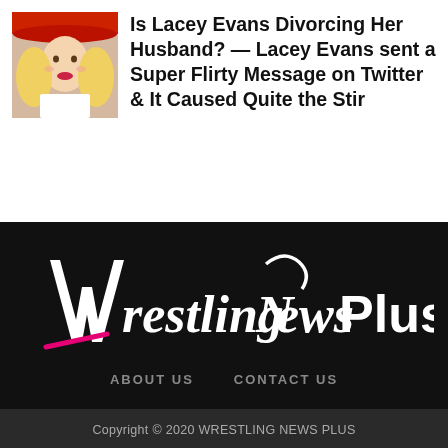[Figure (photo): Thumbnail photo of a woman with blonde curly hair and red hat]
Is Lacey Evans Divorcing Her Husband? — Lacey Evans sent a Super Flirty Message on Twitter & It Caused Quite the Stir
[Figure (logo): Wrestling News Plus logo in white script on black background with pink accent]
ABOUT US
CONTACT US
Copyright © 2020 WRESTLING NEWS PLUS
SHARE
TWEET